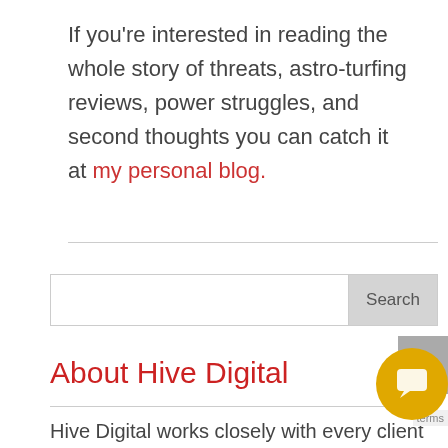If you're interested in reading the whole story of threats, astro-turfing reviews, power struggles, and second thoughts you can catch it at my personal blog.
Search
About Hive Digital
Hive Digital works closely with every client to develop and execute custom digital marketing